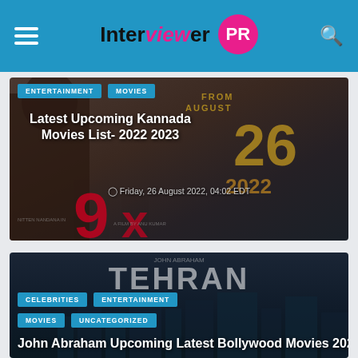Interviewer PR
[Figure (photo): Movie promotional image for Kannada Movies List 2022 2023, dark film poster background with red numeral 9x and golden text from August 26 2022]
ENTERTAINMENT   MOVIES
Latest Upcoming Kannada Movies List- 2022 2023
Friday, 26 August 2022, 04:02 EDT
[Figure (photo): Movie promotional image for John Abraham Tehran film, dark blue city skyline background with bold TEHRAN text]
CELEBRITIES   ENTERTAINMENT   MOVIES   UNCATEGORIZED
John Abraham Upcoming Latest Bollywood Movies 2022 2023